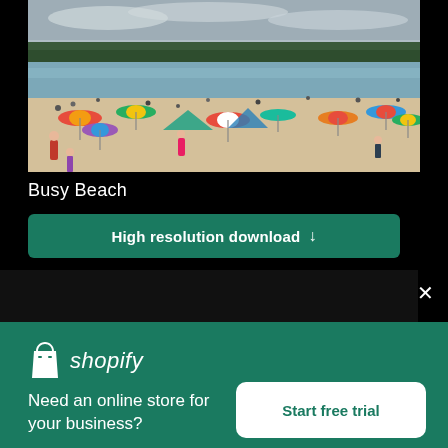[Figure (photo): Crowded beach scene with many people, colorful beach umbrellas, sandy shore, calm water, and trees visible in the background under a cloudy sky.]
Busy Beach
High resolution download ↓
[Figure (logo): Shopify logo — shopping bag icon with Shopify wordmark in italic white text]
Need an online store for your business?
Start free trial